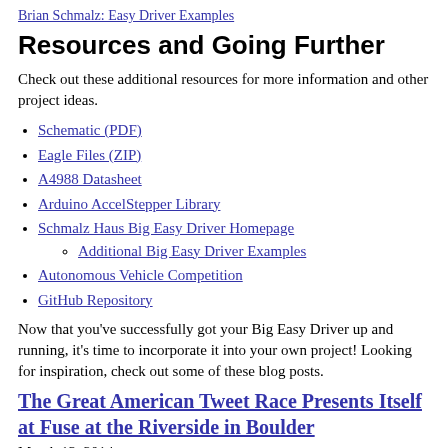Brian Schmalz: Easy Driver Examples
Resources and Going Further
Check out these additional resources for more information and other project ideas.
Schematic (PDF)
Eagle Files (ZIP)
A4988 Datasheet
Arduino AccelStepper Library
Schmalz Haus Big Easy Driver Homepage
Additional Big Easy Driver Examples
Autonomous Vehicle Competition
GitHub Repository
Now that you've successfully got your Big Easy Driver up and running, it's time to incorporate it into your own project! Looking for inspiration, check out some of these blog posts.
The Great American Tweet Race Presents Itself at Fuse at the Riverside in Boulder
March 13, 2014